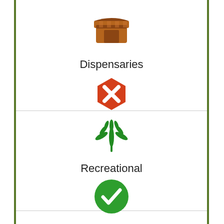[Figure (illustration): Brown store/dispensary icon (market stall with striped awning)]
Dispensaries
[Figure (illustration): Red hexagon with white X mark icon]
[Figure (illustration): Green cannabis leaf icon]
Recreational
[Figure (illustration): Green circle with white checkmark icon]
[Figure (illustration): Blue and white capsule/pill icon]
Medicinal